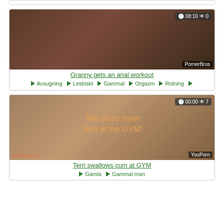[Figure (screenshot): Partial top of a video card (cropped at top of page)]
[Figure (screenshot): Video thumbnail for 'Granny gets an anal workout' with duration 08:10, 0 views, PornerBros watermark]
Granny gets an anal workout
Avsugning  Lesbiskt  Gammal  Orgasm  Ridning
[Figure (screenshot): Video thumbnail for 'Terri swallows cum at GYM' with duration 00:00, 7 views, YouPorn watermark, text overlay 'Two Boys meet Terri at the GYM!']
Terri swallows cum at GYM
Gamla  Gammal man